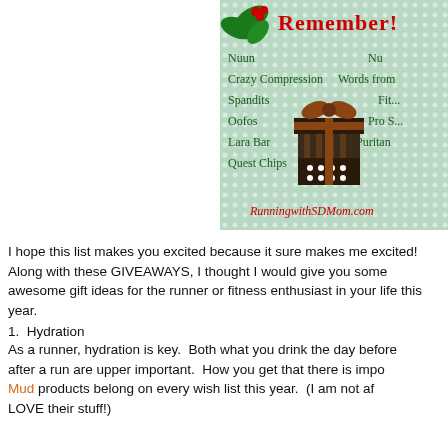[Figure (infographic): Holiday giveaway reminder graphic with mint/green polka dot background, 'Remember!' text in red, holly decoration, list of sponsors (Nuun, Crazy Compression, Spandits, Oofos, Lara Bar, Quest Chips on left; Nuun, Words from..., Fit..., Pro S..., Puritan... on right), wrapped gift box illustration, and RunningwithSDMom.com watermark]
I hope this list makes you excited because it sure makes me excited! Along with these GIVEAWAYS, I thought I would give you some awesome gift ideas for the runner or fitness enthusiast in your life this year.
1.  Hydration
As a runner, hydration is key.  Both what you drink the day before a run and after a run are upper important.  How you get that there is imp... Mud products belong on every wish list this year.  (I am not af... LOVE their stuff!)